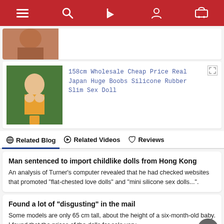Navigation bar with menu, search, flag, account, cart icons
[Figure (photo): Partial product thumbnail showing torso, top card]
[Figure (photo): Product thumbnail: woman in orange bikini in garden setting]
158cm Wholesale Cheap Price Real Japan Huge Boobs Silicone Rubber Slim Sex Doll
Related Blog   Related Videos   Reviews
Man sentenced to import childlike dolls from Hong Kong
An analysis of Turner's computer revealed that he had checked websites that promoted "flat-chested love dolls" and "mini silicone sex dolls...".
Found a lot of "disgusting" in the mail
Some models are only 65 cm tall, about the height of a six-month-old baby. I found that the prices of the dolls for sale vary...